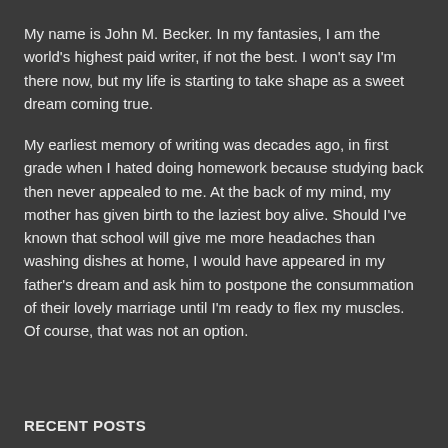My name is John M. Becker. In my fantasies, I am the world's highest paid writer, if not the best. I won't say I'm there now, but my life is starting to take shape as a sweet dream coming true.
My earliest memory of writing was decades ago, in first grade when I hated doing homework because studying back then never appealed to me. At the back of my mind, my mother has given birth to the laziest boy alive. Should I've known that school will give me more headaches than washing dishes at home, I would have appeared in my father's dream and ask him to postpone the consummation of their lovely marriage until I'm ready to flex my muscles. Of course, that was not an option.
RECENT POSTS